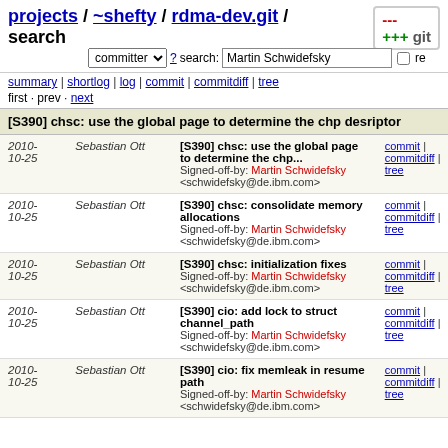projects / ~shefty / rdma-dev.git / search
committer ? search: Martin Schwidefsky re
summary | shortlog | log | commit | commitdiff | tree
first · prev · next
[S390] chsc: use the global page to determine the chp desriptor
| Date | Author | Message | Links |
| --- | --- | --- | --- |
| 2010-10-25 | Sebastian Ott | [S390] chsc: use the global page to determine the chp...
Signed-off-by: Martin Schwidefsky <schwidefsky@de.ibm.com> | commit | commitdiff | tree |
| 2010-10-25 | Sebastian Ott | [S390] chsc: consolidate memory allocations
Signed-off-by: Martin Schwidefsky <schwidefsky@de.ibm.com> | commit | commitdiff | tree |
| 2010-10-25 | Sebastian Ott | [S390] chsc: initialization fixes
Signed-off-by: Martin Schwidefsky <schwidefsky@de.ibm.com> | commit | commitdiff | tree |
| 2010-10-25 | Sebastian Ott | [S390] cio: add lock to struct channel_path
Signed-off-by: Martin Schwidefsky <schwidefsky@de.ibm.com> | commit | commitdiff | tree |
| 2010-10-25 | Sebastian Ott | [S390] cio: fix memleak in resume path
Signed-off-by: Martin Schwidefsky <schwidefsky@de.ibm.com> | commit | commitdiff | tree |